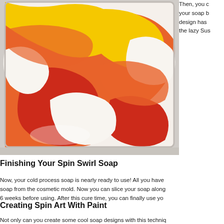[Figure (photo): A clear plastic mold tray containing swirled cold process soap in red, orange, yellow, and white colors with a vibrant spin swirl pattern.]
Then, you c your soap b design has the lazy Sus
Finishing Your Spin Swirl Soap
Now, your cold process soap is nearly ready to use! All you have soap from the cosmetic mold. Now you can slice your soap along 6 weeks before using. After this cure time, you can finally use yo
Creating Spin Art With Paint
Not only can you create some cool soap designs with this techniq